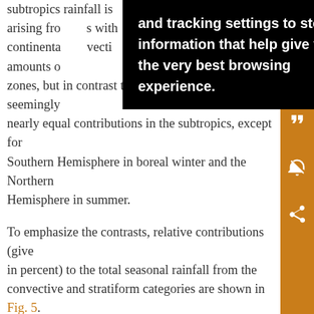subtropics… rainfall is… rainfall arising from… s with continental… vective amounts of… zones, but in contrast to the oceanic regime, seemingly nearly equal contributions in the subtropics, except for Southern Hemisphere in boreal winter and the Northern Hemisphere in summer.
To emphasize the contrasts, relative contributions (given in percent) to the total seasonal rainfall from the convective and stratiform categories are shown in Fig. 5. (As in Fig. 4, the results are nearly identical with respect to the two algorithms.) Now, the actual differences, in terms of the contributions between the tropics and subtropics and between the oceanic and continental